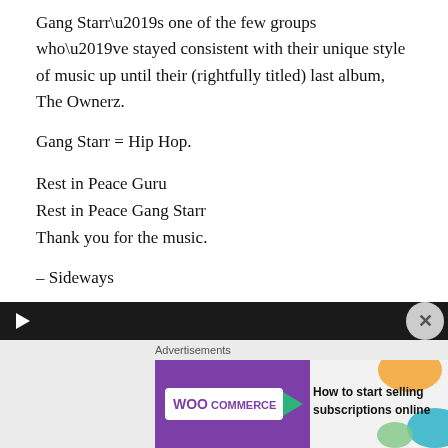Gang Starr’s one of the few groups who’ve stayed consistent with their unique style of music up until their (rightfully titled) last album, The Ownerz.
Gang Starr = Hip Hop.
Rest in Peace Guru
Rest in Peace Gang Starr
Thank you for the music.
– Sideways
Original Sample:
California Soul by Marlena Shaw
[Figure (other): Audio player bar (dark/black background with play button)]
[Figure (other): Advertisement banner for WooCommerce: 'How to start selling subscriptions online']